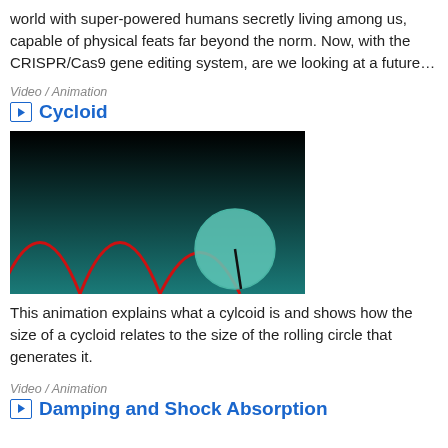world with super-powered humans secretly living among us, capable of physical feats far beyond the norm. Now, with the CRISPR/Cas9 gene editing system, are we looking at a future…
Video / Animation
Cycloid
[Figure (screenshot): Thumbnail of cycloid animation: black-to-teal gradient background, red cycloidal curve arches at bottom left, a teal/mint rolling circle with a dark radial line on the right side.]
This animation explains what a cylcoid is and shows how the size of a cycloid relates to the size of the rolling circle that generates it.
Video / Animation
Damping and Shock Absorption